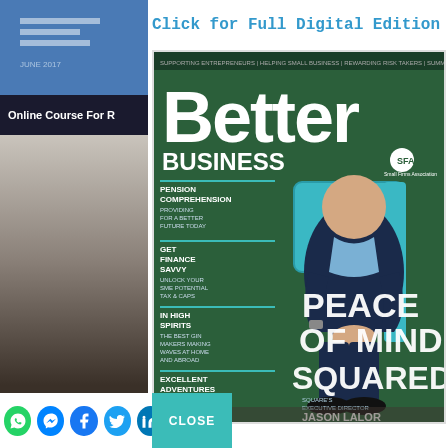Click for Full Digital Edition
[Figure (photo): Magazine cover of 'Better Business' (SFA - Small Firms Association), Summer 2017. Features Jason Lalor, Square's Executive Director, seated on a teal chair. Headlines include: PEACE OF MIND, SQUARED; PENSION COMPREHENSION; GET FINANCE SAVVY; IN HIGH SPIRITS; EXCELLENT ADVENTURES.]
[Figure (screenshot): Left column showing partially visible online course thumbnail with blue banner, dark banner reading 'Online Course For...' and a photo area with text 'Irish Ventu...']
[Figure (other): Row of social media icons: WhatsApp, Messenger, Facebook, Twitter, LinkedIn]
CLOSE